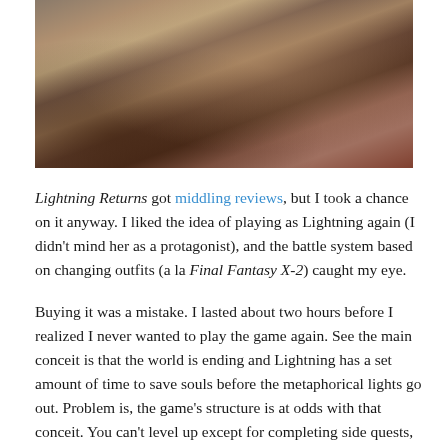[Figure (screenshot): A video game screenshot showing a character in action, likely from Lightning Returns: Final Fantasy XIII, with a dynamic running or combat pose against a concrete/industrial background.]
Lightning Returns got middling reviews, but I took a chance on it anyway. I liked the idea of playing as Lightning again (I didn't mind her as a protagonist), and the battle system based on changing outfits (a la Final Fantasy X-2) caught my eye.
Buying it was a mistake. I lasted about two hours before I realized I never wanted to play the game again. See the main conceit is that the world is ending and Lightning has a set amount of time to save souls before the metaphorical lights go out. Problem is, the game's structure is at odds with that conceit. You can't level up except for completing side quests, and ones are only